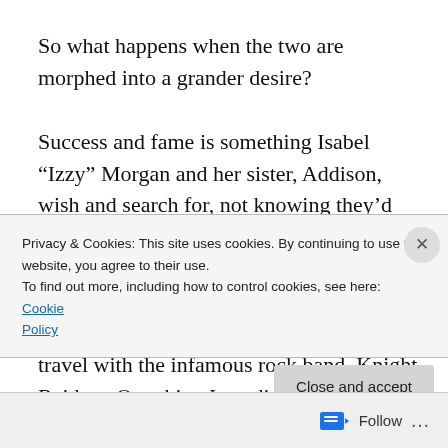So what happens when the two are morphed into a grander desire?

Success and fame is something Isabel “Izzy” Morgan and her sister, Addison, wish and search for, not knowing they’d soon find the key to that wishful dreaming broken down on the side of the road. An offer is made that neither one of them can refuse, and lands them the opportunity to travel with the infamous rock band, Knight Raiders. One thing Izzy didn’t count on is another wish to yearn for in the form of Travelin Knight… They say when you have big
Privacy & Cookies: This site uses cookies. By continuing to use this website, you agree to their use.
To find out more, including how to control cookies, see here: Cookie Policy
Close and accept
Follow ...